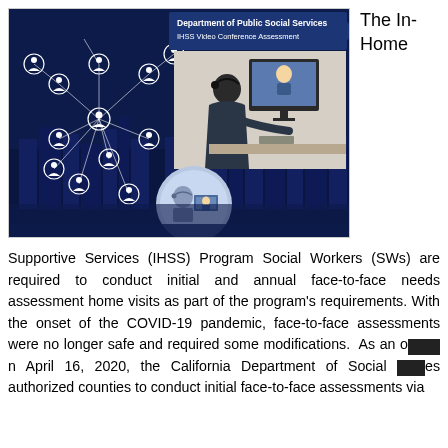[Figure (infographic): Department of Public Social Services IHSS Video Conference Assessment infographic showing a network of connected person icons over a city skyline background (dark blue), with a photo inset of a social worker conducting a video conference call at a desk, and a circular illustration of a person on a video call in the lower center.]
The In-Home
Supportive Services (IHSS) Program Social Workers (SWs) are required to conduct initial and annual face-to-face needs assessment home visits as part of the program's requirements. With the onset of the COVID-19 pandemic, face-to-face assessments were no longer safe and required some modifications.  As an o[n] April 16, 2020, the California Department of Social [S]es authorized counties to conduct initial face-to-face assessments via